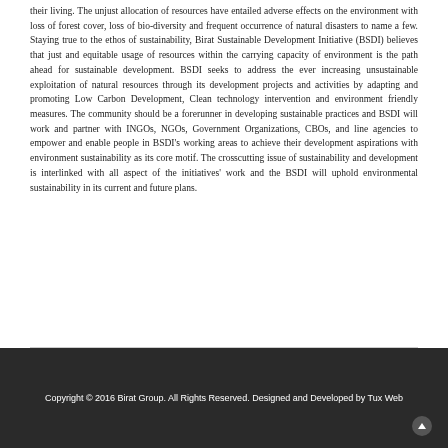their living. The unjust allocation of resources have entailed adverse effects on the environment with loss of forest cover, loss of bio-diversity and frequent occurrence of natural disasters to name a few. Staying true to the ethos of sustainability, Birat Sustainable Development Initiative (BSDI) believes that just and equitable usage of resources within the carrying capacity of environment is the path ahead for sustainable development. BSDI seeks to address the ever increasing unsustainable exploitation of natural resources through its development projects and activities by adapting and promoting Low Carbon Development, Clean technology intervention and environment friendly measures. The community should be a forerunner in developing sustainable practices and BSDI will work and partner with INGOs, NGOs, Government Organizations, CBOs, and line agencies to empower and enable people in BSDI's working areas to achieve their development aspirations with environment sustainability as its core motif. The crosscutting issue of sustainability and development is interlinked with all aspect of the initiatives' work and the BSDI will uphold environmental sustainability in its current and future plans.
Copyright © 2016 Birat Group. All Rights Reserved. Designed and Developed by Tux Web